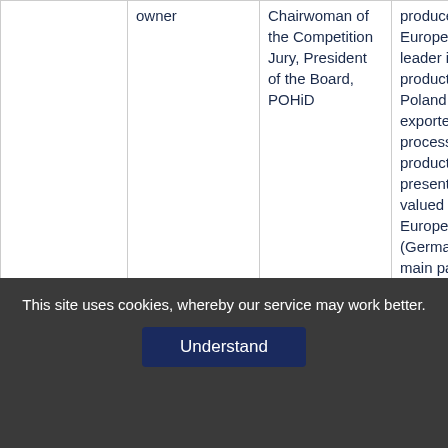|  | owner | Chairwoman of the Competition Jury, President of the Board, POHiD | producer in Europe and a leader in duck production in Poland. An exporter of processed products, present and valued on the European (Germany's main partner) and Asian |
This site uses cookies, whereby our service may work better.
Understand